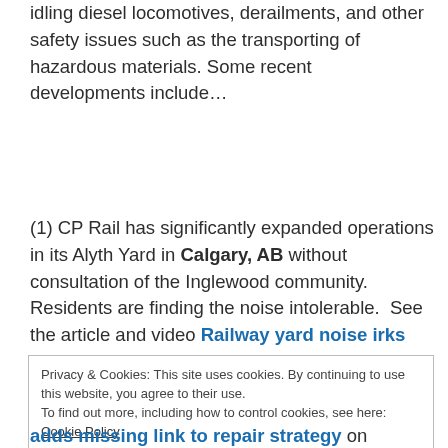idling diesel locomotives, derailments, and other safety issues such as the transporting of hazardous materials. Some recent developments include…
(1) CP Rail has significantly expanded operations in its Alyth Yard in Calgary, AB without consultation of the Inglewood community. Residents are finding the noise intolerable. See the article and video Railway yard noise irks neighbours from the CBC on January 26, 2012. A local resident spoke to CBC's Eyeopener on the same day.
Privacy & Cookies: This site uses cookies. By continuing to use this website, you agree to their use. To find out more, including how to control cookies, see here: Cookie Policy
adds missing link to repair strategy on January 18,